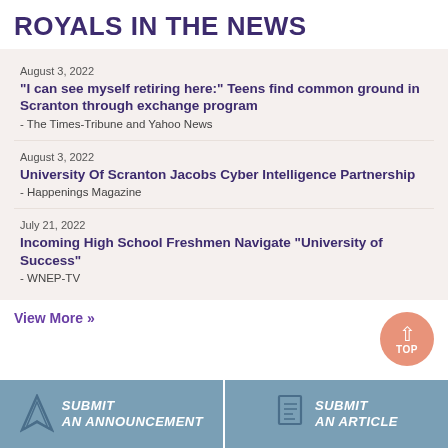ROYALS IN THE NEWS
August 3, 2022
"I can see myself retiring here:" Teens find common ground in Scranton through exchange program
- The Times-Tribune and Yahoo News
August 3, 2022
University Of Scranton Jacobs Cyber Intelligence Partnership
- Happenings Magazine
July 21, 2022
Incoming High School Freshmen Navigate "University of Success"
- WNEP-TV
View More »
SUBMIT AN ANNOUNCEMENT
SUBMIT AN ARTICLE